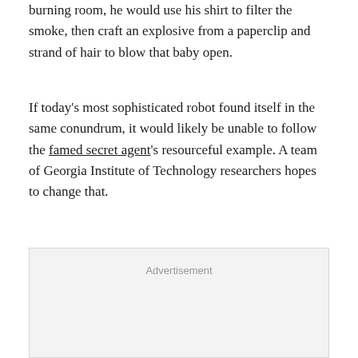burning room, he would use his shirt to filter the smoke, then craft an explosive from a paperclip and strand of hair to blow that baby open.
If today's most sophisticated robot found itself in the same conundrum, it would likely be unable to follow the famed secret agent's resourceful example. A team of Georgia Institute of Technology researchers hopes to change that.
[Figure (other): Advertisement placeholder box with light gray background]